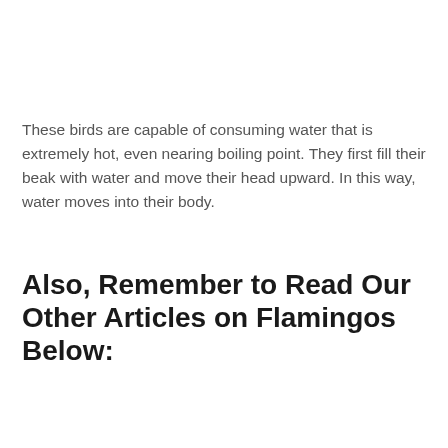These birds are capable of consuming water that is extremely hot, even nearing boiling point. They first fill their beak with water and move their head upward. In this way, water moves into their body.
Also, Remember to Read Our Other Articles on Flamingos Below: